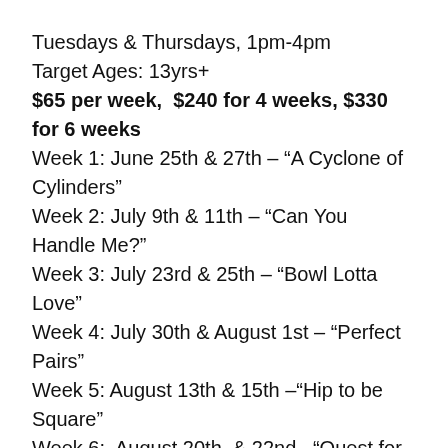Tuesdays & Thursdays, 1pm-4pm
Target Ages: 13yrs+
$65 per week, $240 for 4 weeks, $330 for 6 weeks
Week 1: June 25th & 27th – “A Cyclone of Cylinders”
Week 2: July 9th & 11th – “Can You Handle Me?”
Week 3: July 23rd & 25th – “Bowl Lotta Love”
Week 4: July 30th & August 1st – “Perfect Pairs”
Week 5: August 13th & 15th –“Hip to be Square”
Week 6: August 20th & 22nd –“Quest for the Holy Grail”
Summer is a great time to explore new activities! Each week you will work on a different projects using hand building and wheel throwing techniques in this fun and supportive atmosphere. You will make a variety of things both sculptural and functional. Participants must commit to 4